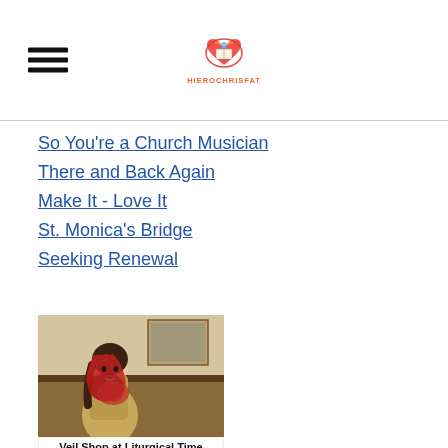HIEROCHRISFAT (logo)
So You're a Church Musician
There and Back Again
Make It - Love It
St. Monica's Bridge
Seeking Renewal
[Figure (photo): Woman wearing a red lace infinity scarf/veil, standing in front of what appears to be a piano. Advertisement for a veil shop.]
Veil Shop at Liturgical Time - Free Domestic Shipping -